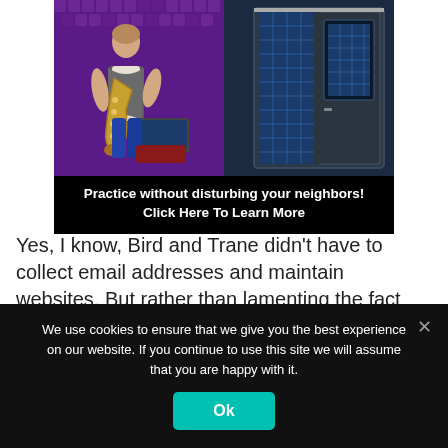[Figure (photo): Advertisement banner showing a saxophone player in a purple soundproofed studio on the left and a soundproof booth on the right, with text 'Practice without disturbing your neighbors! Click Here To Learn More' on a black background below.]
Yes, I know, Bird and Trane didn't have to collect email addresses and maintain websites. But rather than lamenting the fact people nowadays are too lazy and ignorant to dig jazz, I believe that musicians have to face the reality and wear the entrepreneur hat along with their
We use cookies to ensure that we give you the best experience on our website. If you continue to use this site we will assume that you are happy with it.
Ok